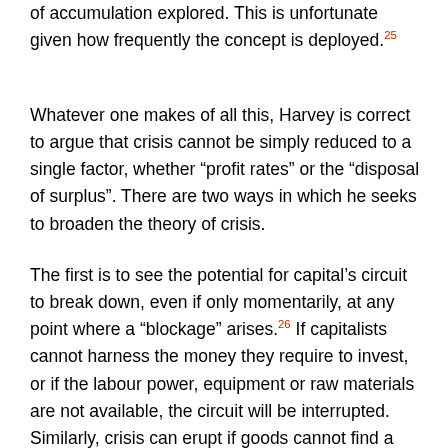of accumulation explored. This is unfortunate given how frequently the concept is deployed.25
Whatever one makes of all this, Harvey is correct to argue that crisis cannot be simply reduced to a single factor, whether “profit rates” or the “disposal of surplus”. There are two ways in which he seeks to broaden the theory of crisis.
The first is to see the potential for capital’s circuit to break down, even if only momentarily, at any point where a “blockage” arises.26 If capitalists cannot harness the money they require to invest, or if the labour power, equipment or raw materials are not available, the circuit will be interrupted. Similarly, crisis can erupt if goods cannot find a market with sufficient effective demand either from other capitalists or workers. The possibility of